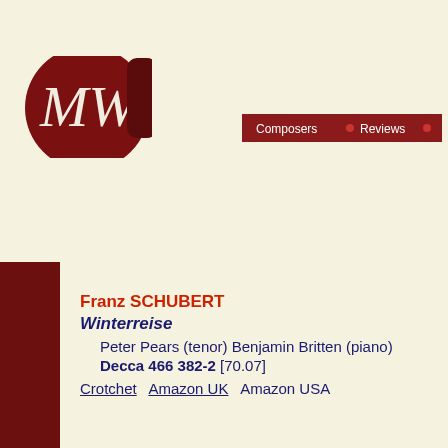[Figure (logo): MW logo: dark red oval with italic white MW script lettering, partially cropped at top-left corner]
[Figure (other): Navigation bar with dark red background, white text: Composers bullet Reviews bullet]
Franz SCHUBERT
Winterreise
Peter Pears (tenor) Benjamin Britten (piano)
Decca 466 382-2 [70.07]
Crotchet  Amazon UK  Amazon USA